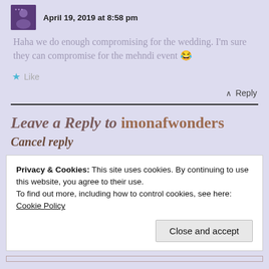April 19, 2019 at 8:58 pm
Haha we do enough compromising for the wedding. I'm sure they can compromise for the mehndi event 😂
★ Like
↑ Reply
Leave a Reply to imonafwonders
Cancel reply
Privacy & Cookies: This site uses cookies. By continuing to use this website, you agree to their use.
To find out more, including how to control cookies, see here: Cookie Policy
Close and accept